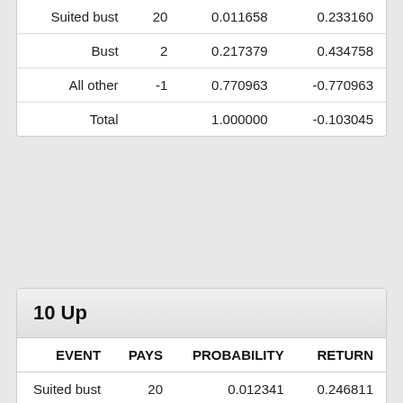| EVENT | PAYS | PROBABILITY | RETURN |
| --- | --- | --- | --- |
| Suited bust | 20 | 0.011658 | 0.233160 |
| Bust | 2 | 0.217379 | 0.434758 |
| All other | -1 | 0.770963 | -0.770963 |
| Total |  | 1.000000 | -0.103045 |
10 Up
| EVENT | PAYS | PROBABILITY | RETURN |
| --- | --- | --- | --- |
| Suited bust | 20 | 0.012341 | 0.246811 |
| Bust | 2 | 0.217785 | 0.435570 |
| All other | -1 | 0.769874 | -0.769874 |
| Total |  | 1.000000 | -0.087493 |